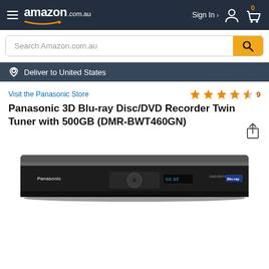amazon.com.au — Sign In — Cart (0)
Search Amazon.com.au
Deliver to United States
Visit the Panasonic Store
[Figure (other): 4.5 star rating with 9 reviews]
Panasonic 3D Blu-ray Disc/DVD Recorder Twin Tuner with 500GB (DMR-BWT460GN)
[Figure (photo): Panasonic DMR-BWT460GN Blu-ray Disc/DVD Recorder — slim black device with silver front panel]